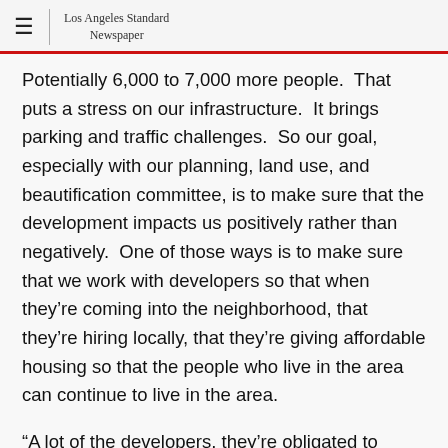Los Angeles Standard Newspaper
Potentially 6,000 to 7,000 more people.  That puts a stress on our infrastructure.  It brings parking and traffic challenges.  So our goal, especially with our planning, land use, and beautification committee, is to make sure that the development impacts us positively rather than negatively.  One of those ways is to make sure that we work with developers so that when they’re coming into the neighborhood, that they’re hiring locally, that they’re giving affordable housing so that the people who live in the area can continue to live in the area.
“A lot of the developers, they’re obligated to come to a planning and land use committee meeting, and tell us what the designs are; tell us what their ideas for what they’re building are.  And then listen to what we want and